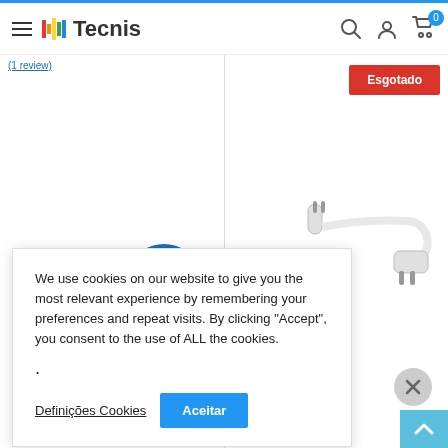Tecnis - header navigation with logo, search, user, and cart icons
(1 review)
Esgotado
[Figure (photo): Black power cable with blue Powercon connector on one end and a Schuko plug on the other end]
[Figure (photo): White angled power cable with two-pin plugs on each end]
We use cookies on our website to give you the most relevant experience by remembering your preferences and repeat visits. By clicking “Accept”, you consent to the use of ALL the cookies.
.
Definições Cookies
Aceitar